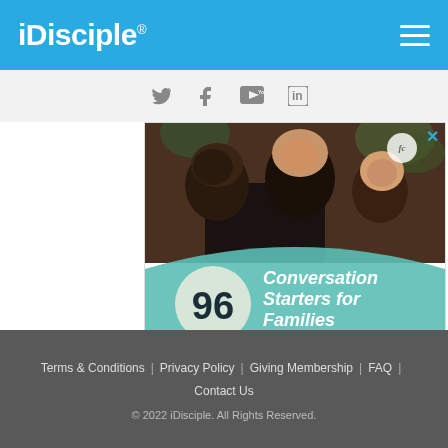iDisciple®
[Figure (photo): Family photo with mother and children smiling, overlaid with teal graphic and text '96 Conversation Starters for Families']
Terms & Conditions | Privacy Policy | Giving Membership | FAQ | Contact Us  © 2022 iDisciple. All Rights Reserved.